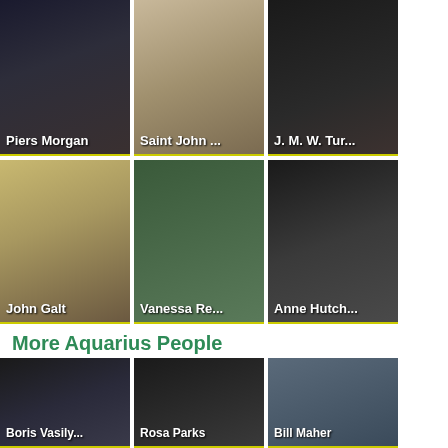[Figure (photo): Grid of famous people photos with names. Row 1: Piers Morgan, Saint John ..., J. M. W. Tur...]
Piers Morgan
Saint John ...
J. M. W. Tur...
John Galt
Vanessa Re...
Anne Hutch...
More Aquarius People
[Figure (photo): Grid of Aquarius people photos. Row 1: Boris Vasily..., Rosa Parks, Bill Maher. Row 2: three more partially visible.]
Boris Vasily...
Rosa Parks
Bill Maher